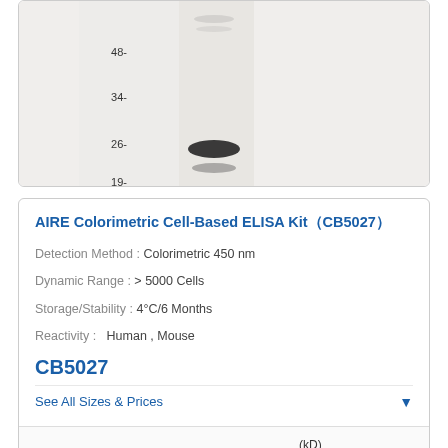[Figure (other): Western blot gel image showing molecular weight markers at 48, 34, 26, and 19 kD, with a dark band visible near the 26 kD mark]
AIRE Colorimetric Cell-Based ELISA Kit（CB5027）
Detection Method :  Colorimetric 450 nm
Dynamic Range :  > 5000 Cells
Storage/Stability :  4°C/6 Months
Reactivity :   Human , Mouse
CB5027
See All Sizes & Prices
[Figure (other): Partial gel image showing (kD) label and a band at -117 kD]